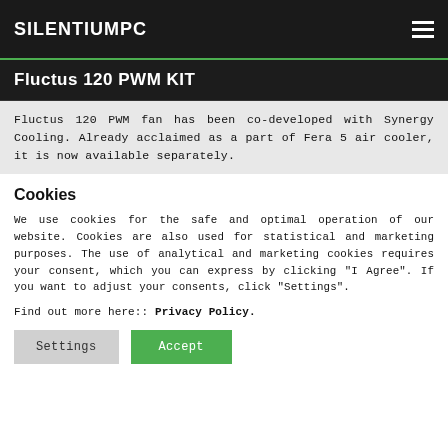SILENTIUMPC
Fluctus 120 PWM KIT
Fluctus 120 PWM fan has been co-developed with Synergy Cooling. Already acclaimed as a part of Fera 5 air cooler, it is now available separately.
Cookies
We use cookies for the safe and optimal operation of our website. Cookies are also used for statistical and marketing purposes. The use of analytical and marketing cookies requires your consent, which you can express by clicking "I Agree". If you want to adjust your consents, click "Settings".
Find out more here:: Privacy Policy.
Settings   Accept